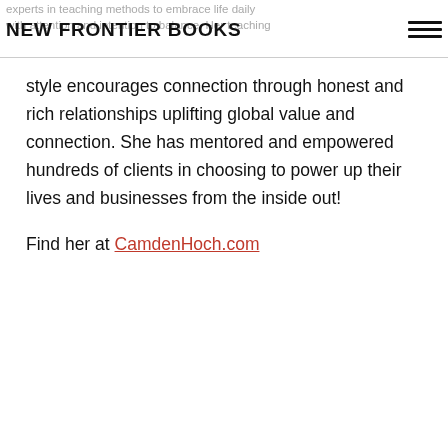NEW FRONTIER BOOKS
experts in teaching methods to embrace life daily with attention and intention to balance. Her teaching style encourages connection through honest and rich relationships uplifting global value and connection. She has mentored and empowered hundreds of clients in choosing to power up their lives and businesses from the inside out!
Find her at CamdenHoch.com